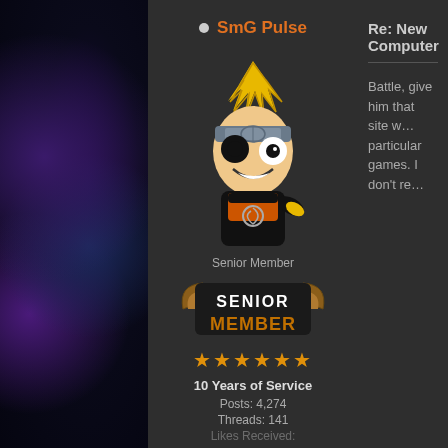[Figure (screenshot): Forum profile page for user 'SmG Pulse' with avatar (anime character in Naruto style), rank badges, post stats, and a welcome notification popup at the bottom]
SmG Pulse
Senior Member
10 Years of Service
Posts: 4,274
Threads: 141
Likes Received:
Re: New Computer
Battle, give him that site w... particular games. I don't re...
Welcome to SmG Gaming Community!
[Close]
You're browsing our website as a Guest. In order to view all of our content as well as added bonus features, please register by clicking HERE